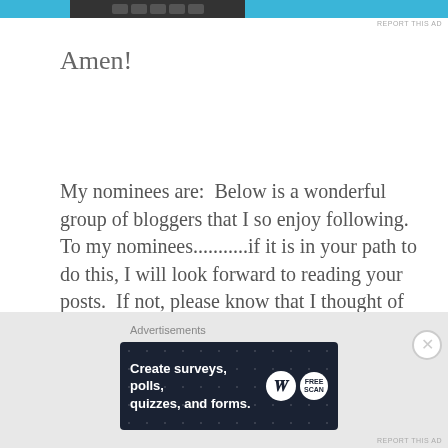[Figure (screenshot): Top advertisement banner with blue sections and dark center toolbar area, with 'REPORT THIS AD' text]
Amen!
My nominees are:  Below is a wonderful group of bloggers that I so enjoy following.  To my nominees...........if it is in your path to do this, I will look forward to reading your posts.  If not, please know that I thought of you..........
[Figure (screenshot): Bottom advertisement banner reading 'Create surveys, polls, quizzes, and forms.' with WordPress and survey tool logos on dark background]